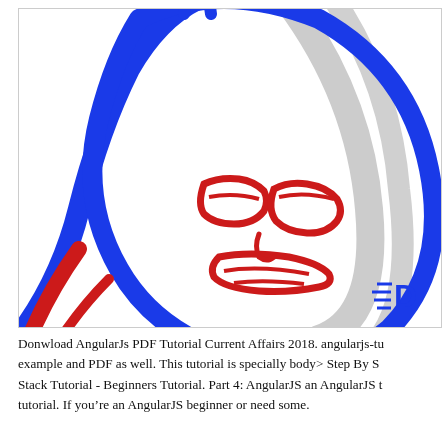[Figure (illustration): A stylized line-art illustration of a superhero or comic character face/upper body drawn with bold blue, red, and gray strokes on white background. Blue outlines form the face and body, red lines depict facial features (eyes, mouth/lips), and gray lines appear in the background. A partial logo or watermark 'D' appears in blue at the lower right corner.]
Donwload AngularJs PDF Tutorial Current Affairs 2018. angularjs-tutorial example and PDF as well. This tutorial is specially body> Step By Stack Tutorial - Beginners Tutorial. Part 4: AngularJS an AngularJS tutorial. If you're an AngularJS beginner or need some.